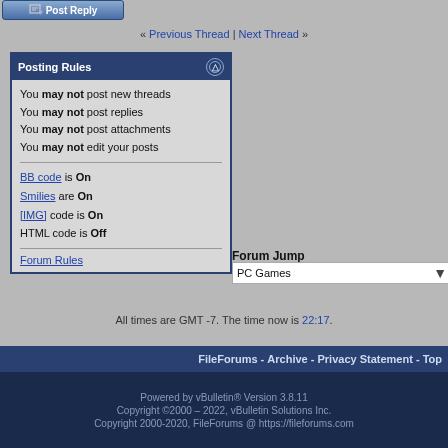Post Reply
« Previous Thread | Next Thread »
Posting Rules
You may not post new threads
You may not post replies
You may not post attachments
You may not edit your posts
BB code is On
Smilies are On
[IMG] code is On
HTML code is Off
Forum Rules
Forum Jump
PC Games
All times are GMT -7. The time now is 22:17.
FileForums - Archive - Privacy Statement - Top
Powered by vBulletin® Version 3.8.11
Copyright ©2000 – 2022, vBulletin Solutions Inc.
Copyright 2000-2020, FileForums @ https://fileforums.com